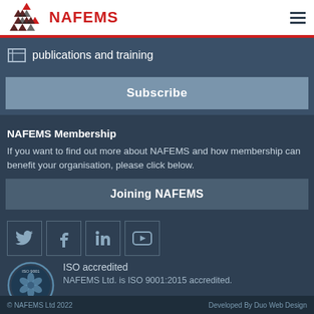NAFEMS
publications and training
Subscribe
NAFEMS Membership
If you want to find out more about NAFEMS and how membership can benefit your organisation, please click below.
Joining NAFEMS
[Figure (infographic): Social media icons: Twitter, Facebook, LinkedIn, YouTube]
ISO accredited
NAFEMS Ltd. is ISO 9001:2015 accredited.
© NAFEMS Ltd 2022  Developed By Duo Web Design